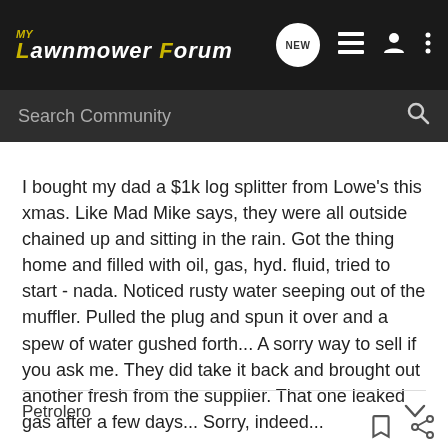My Lawnmower Forum
I bought my dad a $1k log splitter from Lowe's this xmas. Like Mad Mike says, they were all outside chained up and sitting in the rain. Got the thing home and filled with oil, gas, hyd. fluid, tried to start - nada. Noticed rusty water seeping out of the muffler. Pulled the plug and spun it over and a spew of water gushed forth... A sorry way to sell if you ask me. They did take it back and brought out another fresh from the supplier. That one leaked gas after a few days... Sorry, indeed...
Petrolero